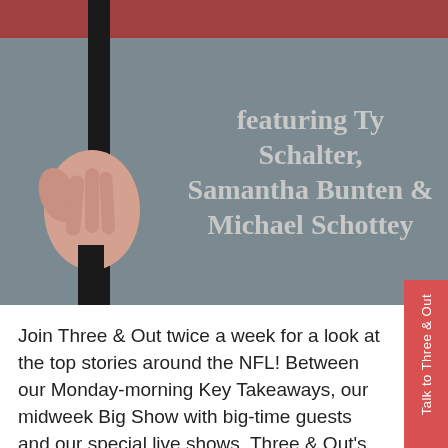featuring Ty Schalter, Samantha Bunten & Michael Schottey
Join Three & Out twice a week for a look at the top stories around the NFL! Between our Monday-morning Key Takeaways, our midweek Big Show with big-time guests and our special live shows, Three & Out's three sports-media pros bring you everything you need to know about the league.
Hosts Samantha Bunten (@SamanthaBunten) of NBC Sports, Ty Schalter (@TySchalter on Twitter) of FiveThirtyEight.com and Mike Schottey (@Schottey on Twitter) break down the game both on and off the field--